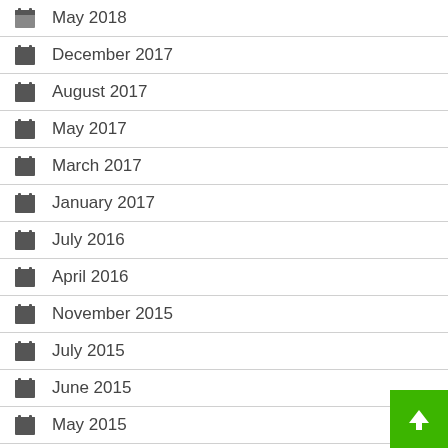May 2018
December 2017
August 2017
May 2017
March 2017
January 2017
July 2016
April 2016
November 2015
July 2015
June 2015
May 2015
July 2013